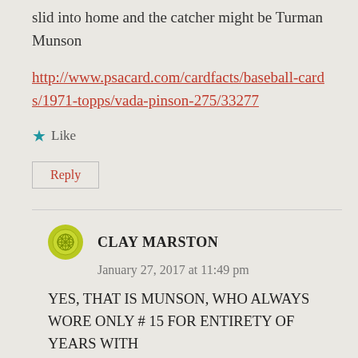slid into home and the catcher might be Turman Munson
http://www.psacard.com/cardfacts/baseball-cards/1971-topps/vada-pinson-275/33277
★ Like
Reply
CLAY MARSTON
January 27, 2017 at 11:49 pm
YES, THAT IS MUNSON, WHO ALWAYS WORE ONLY # 15 FOR ENTIRETY OF YEARS WITH